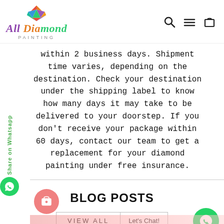All Diamond Painting — navigation header with logo, search, menu, and cart icons
within 2 business days. Shipment time varies, depending on the destination. Check your destination under the shipping label to know how many days it may take to be delivered to your doorstep. If you don't receive your package within 60 days, contact our team to get a replacement for your diamond painting under free insurance.
BLOG POSTS
VIEW ALL   Let's Chat!